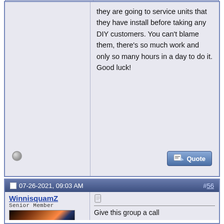they are going to service units that they have install before taking any DIY customers. You can't blame them, there's so much work and only so many hours in a day to do it. Good luck!
07-26-2021, 09:03 AM  #56
WinnisquamZ
Senior Member
[Figure (photo): Sunset photo with silhouetted trees reflected on water]
Join Date: Dec 2016
Posts: 1,446
Thanks: 152
Thanked 471 Times in 315 Posts
Give this group a call

Callahan A/C & Heating Services
Phone(978) 689-9233
Address91 Belmont St, North Andover, MA 01845
TimeToday 7:00 am - 4:30 pm
They are opening a new branch in Moultonborgh this month I believe


Sent from my iPhone using
Winnipesaukee Forum